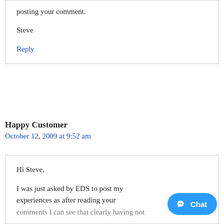posting your comment.
Steve
Reply
Happy Customer
October 12, 2009 at 9:52 am
Hi Steve,
I was just asked by EDS to post my experiences as after reading your comments I can see that clearly having not